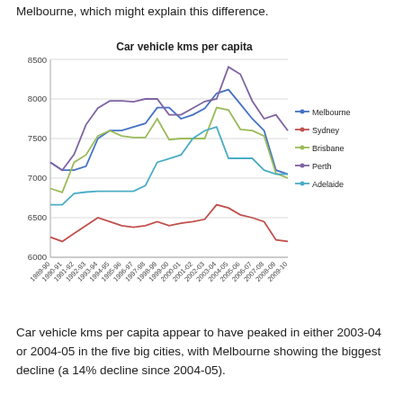Melbourne, which might explain this difference.
[Figure (line-chart): Car vehicle kms per capita]
Car vehicle kms per capita appear to have peaked in either 2003-04 or 2004-05 in the five big cities, with Melbourne showing the biggest decline (a 14% decline since 2004-05).